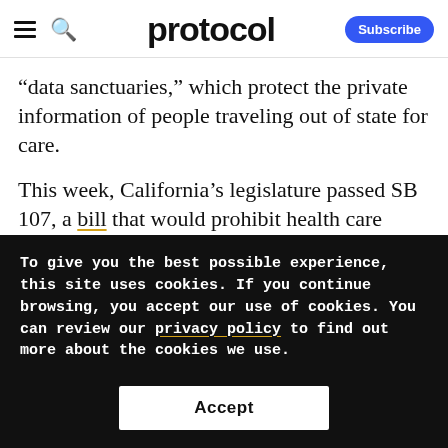protocol — Subscribe
“data sanctuaries,” which protect the private information of people traveling out of state for care.
This week, California’s legislature passed SB 107, a bill that would prohibit health care providers, law enforcement and courts in California from providing information to other states…
To give you the best possible experience, this site uses cookies. If you continue browsing, you accept our use of cookies. You can review our privacy policy to find out more about the cookies we use.
Accept